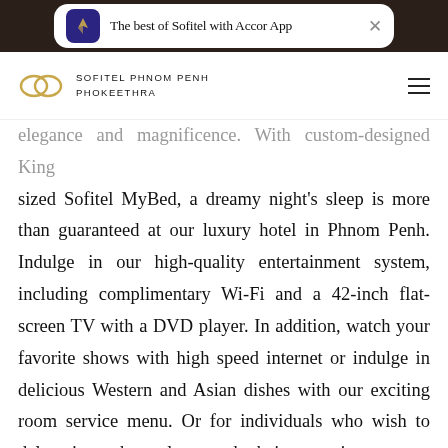[Figure (screenshot): App banner: 'The best of Sofitel with Accor App' with Accor logo icon and close button, on dark top bar]
[Figure (logo): Sofitel Phnom Penh Phokeethra logo with interlocking circles icon and hotel name text, with hamburger menu icon]
elegance and magnificence. With custom-designed King sized Sofitel MyBed, a dreamy night's sleep is more than guaranteed at our luxury hotel in Phnom Penh. Indulge in our high-quality entertainment system, including complimentary Wi-Fi and a 42-inch flat-screen TV with a DVD player. In addition, watch your favorite shows with high speed internet or indulge in delicious Western and Asian dishes with our exciting room service menu. Or for individuals who wish to delve into themselves and their experiences, our custom-designed writing desks are the perfect place to reflect while putting pen to paper.